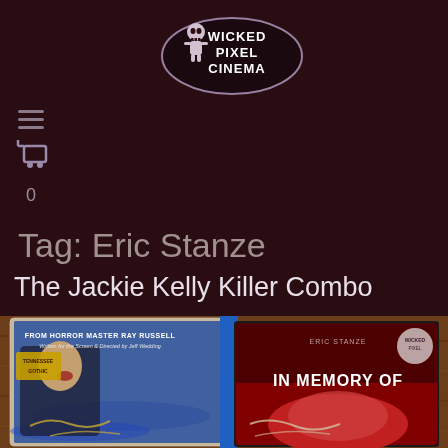[Figure (logo): Wicked Pixel Cinema logo — skull mascot in oval with text WICKED PIXEL CINEMA]
[Figure (illustration): Hamburger menu icon (three horizontal lines) and shopping cart icon]
0
Tag: Eric Stanze
The Jackie Kelly Killer Combo
[Figure (photo): Photo of two Blu-ray/DVD cases — one labeled 'FROM HORROR MASTER RAY RUSSELL Written for the Screen & Directed by Jeff Wedding' with a signed case, and another with 'ERIC STANZE IN MEMORY OF' visible, both cases appear autographed]